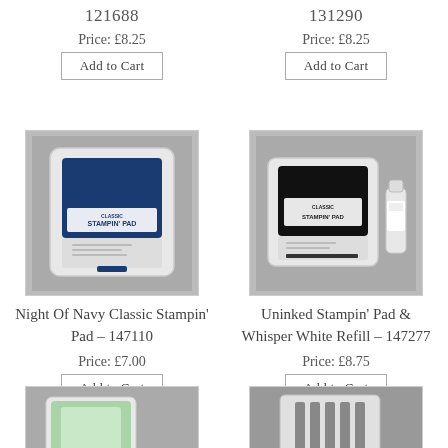121688
131290
Price: £8.25
Price: £8.25
Add to Cart
Add to Cart
[Figure (photo): Night Of Navy Classic Stampin' Pad product photo on grey background]
[Figure (photo): Uninked Stampin' Pad & Whisper White Refill product photo on grey background]
Night Of Navy Classic Stampin' Pad – 147110
Uninked Stampin' Pad & Whisper White Refill – 147277
Price: £7.00
Price: £8.75
Add to Cart
Add to Cart
[Figure (photo): Partial product image bottom left]
[Figure (photo): Partial product image bottom right]